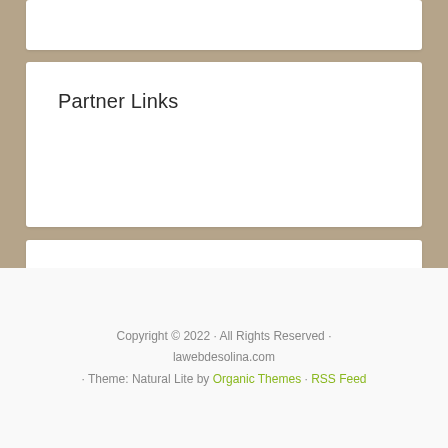Partner Links
Visit
Pets Clinic
Copyright © 2022 · All Rights Reserved · lawebdesolina.com · Theme: Natural Lite by Organic Themes · RSS Feed